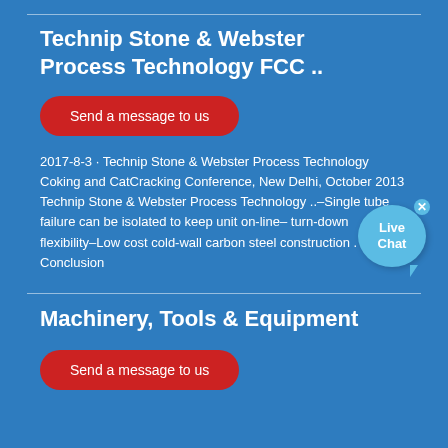Technip Stone & Webster Process Technology FCC ..
Send a message to us
2017-8-3 · Technip Stone & Webster Process Technology Coking and CatCracking Conference, New Delhi, October 2013 Technip Stone & Webster Process Technology ..–Single tube failure can be isolated to keep unit on-line– turn-down flexibility–Low cost cold-wall carbon steel construction . Conclusion
Machinery, Tools & Equipment
Send a message to us